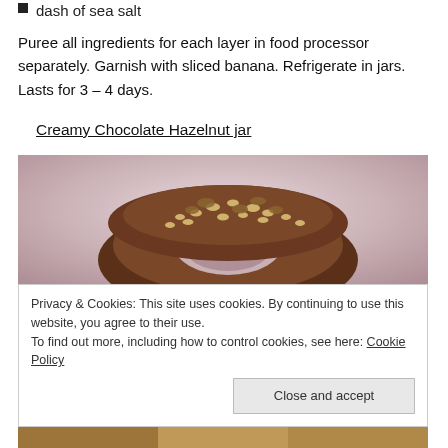dash of sea salt
Puree all ingredients for each layer in food processor separately. Garnish with sliced banana. Refrigerate in jars. Lasts for 3 – 4 days.
Creamy Chocolate Hazelnut jar
[Figure (photo): Photo of a chocolate-covered pretzel or donut topped with chopped hazelnuts/nuts, on a light pinkish-grey background.]
Privacy & Cookies: This site uses cookies. By continuing to use this website, you agree to their use.
To find out more, including how to control cookies, see here: Cookie Policy
[Figure (photo): Partial bottom photo of a jar with food content, cropped at page bottom.]